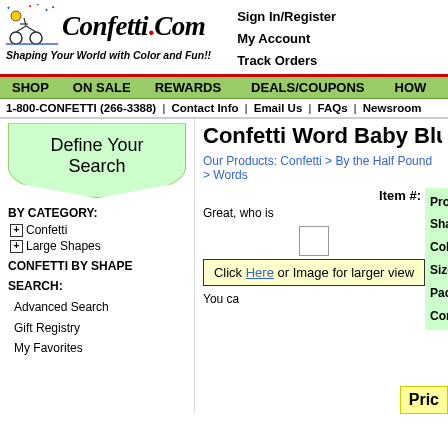[Figure (logo): Confetti.Com logo with cartoon character on bicycle and tagline 'Shaping Your World with Color and Fun!!']
Sign In/Register
My Account
Track Orders
SHOP | ON SALE | REWARDS | DEALS/COUPONS | HOW
1-800-CONFETTI (266-3388) | Contact Info | Email Us | FAQs | Newsroom
Define Your Search
Confetti Word Baby Blue Pastel
Our Products: Confetti > By the Half Pound > Words
BY CATEGORY:
Confetti
Large Shapes
CONFETTI BY SHAPE
SEARCH:
Advanced Search
Gift Registry
My Favorites
Item #:
Great, who is
Click Here or Image for larger view
Product
Shape
Color
Size
Packa
Conte
You ca
Pric